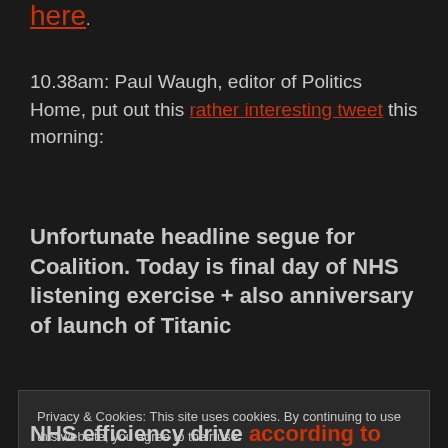here.
10.38am: Paul Waugh, editor of Politics Home, put out this rather interesting tweet this morning:
Unfortunate headline segue for Coalition. Today is final day of NHS listening exercise + also anniversary of launch of Titanic
Privacy & Cookies: This site uses cookies. By continuing to use this website, you agree to their use.
To find out more, including how to control cookies, see here: Cookie Policy
NHS efficiency drive according to the